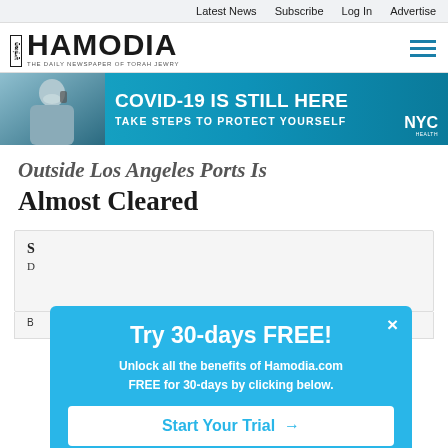Latest News  Subscribe  Log In  Advertise
[Figure (logo): Hamodia newspaper logo with Hebrew tag and subtitle 'THE DAILY NEWSPAPER OF TORAH JEWRY']
[Figure (infographic): NYC COVID-19 banner ad: COVID-19 IS STILL HERE - TAKE STEPS TO PROTECT YOURSELF, with photo of masked person on phone]
Outside Los Angeles Ports Is Almost Cleared
[Figure (screenshot): Popup modal: Try 30-days FREE! Unlock all the benefits of Hamodia.com FREE for 30-days by clicking below. Start Your Trial →]